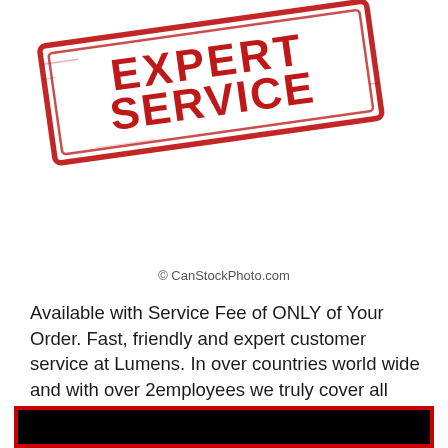[Figure (illustration): Red rubber stamp graphic with text EXPERT SERVICE in bold distressed capital letters, rotated slightly counterclockwise, with a rectangular border outline in red.]
© CanStockPhoto.com
Available with Service Fee of ONLY of Your Order. Fast, friendly and expert customer service at Lumens. In over countries world wide and with over 2employees we truly cover all aspects of your business, let us bring you back the joy to your work.
Mobile Service Manager, ERP and integrated web based solution for your business.
[Figure (other): Red-bordered black rectangle bar at the bottom of the page.]